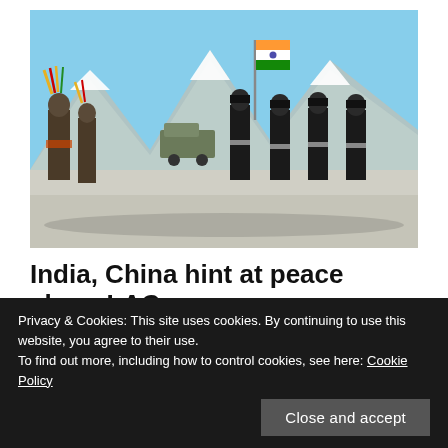[Figure (photo): Indian and Chinese soldiers marching in a mountainous snowy border area. An Indian flag is visible on a pole in the background. Indian soldiers on the left wear traditional feathered hats; Chinese soldiers in dark uniforms march on the right.]
India, China hint at peace along LAC
ON JUNE 11, 2020 • ( LEAVE A COMMENT )
New Delhi: India and China are actively engaged through diplomatic and military channels to
Privacy & Cookies: This site uses cookies. By continuing to use this website, you agree to their use.
To find out more, including how to control cookies, see here: Cookie Policy
Close and accept